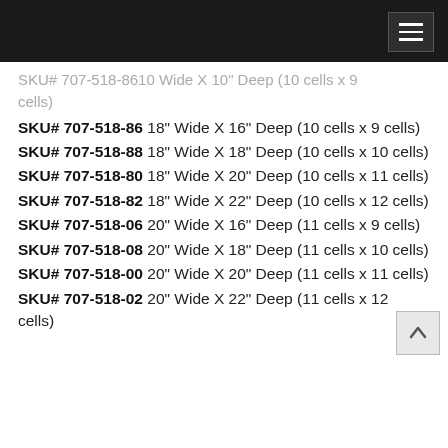SKU# 707-518-86 18" Wide X 16" Deep (10 cells x 9 cells)
SKU# 707-518-88 18" Wide X 18" Deep (10 cells x 10 cells)
SKU# 707-518-80 18" Wide X 20" Deep (10 cells x 11 cells)
SKU# 707-518-82 18" Wide X 22" Deep (10 cells x 12 cells)
SKU# 707-518-06 20" Wide X 16" Deep (11 cells x 9 cells)
SKU# 707-518-08 20" Wide X 18" Deep (11 cells x 10 cells)
SKU# 707-518-00 20" Wide X 20" Deep (11 cells x 11 cells)
SKU# 707-518-02 20" Wide X 22" Deep (11 cells x 12 cells)